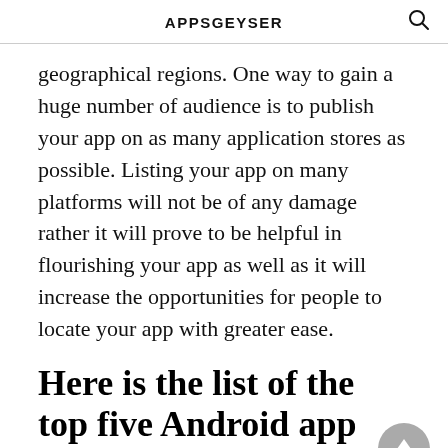APPSGEYSER
geographical regions. One way to gain a huge number of audience is to publish your app on as many application stores as possible. Listing your app on many platforms will not be of any damage rather it will prove to be helpful in flourishing your app as well as it will increase the opportunities for people to locate your app with greater ease.
Here is the list of the top five Android app stores at present: